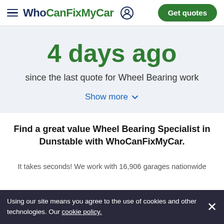WhoCanFixMyCar — Get quotes
4 days ago
since the last quote for Wheel Bearing work
Show more
Find a great value Wheel Bearing Specialist in Dunstable with WhoCanFixMyCar.
It takes seconds! We work with 16,906 garages nationwide
Using our site means you agree to the use of cookies and other technologies. Our cookie policy.